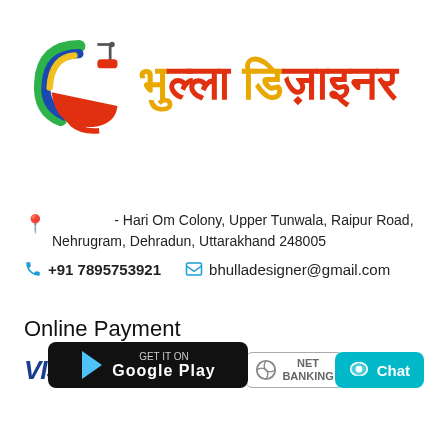[Figure (logo): Bhulla Designer logo with colorful paint swirl icon and Hindi text 'भुल्ला डिज़ाइनर' in orange/yellow and red colors with a paint roller icon]
- Hari Om Colony, Upper Tunwala, Raipur Road, Nehrugram, Dehradun, Uttarakhand 248005
+91 7895753921   bhulladesigner@gmail.com
Online Payment
[Figure (infographic): Payment method icons: VISA, MasterCard, Maestro, Net Banking, COD]
[Figure (other): GET IT ON Google Play button]
[Figure (other): Chat button (teal)]